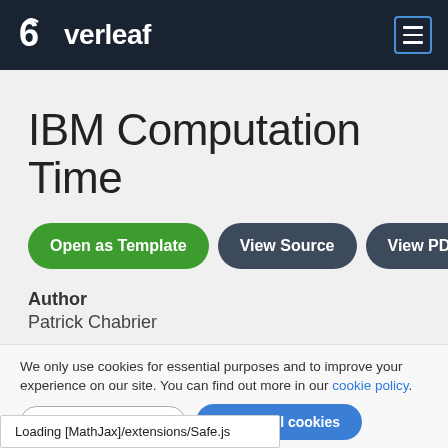Overleaf
IBM Computation Time
Open as Template | View Source | View PDF
Author
Patrick Chabrier
Last Updated
8 years ago
We only use cookies for essential purposes and to improve your experience on our site. You can find out more in our cookie policy.
Essential cookies only  Accept all cookies
Loading [MathJax]/extensions/Safe.js